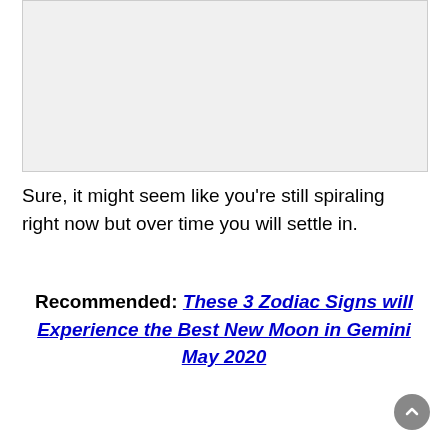[Figure (other): Image placeholder area, light gray rectangle]
Sure, it might seem like you're still spiraling right now but over time you will settle in.
Recommended: These 3 Zodiac Signs will Experience the Best New Moon in Gemini May 2020